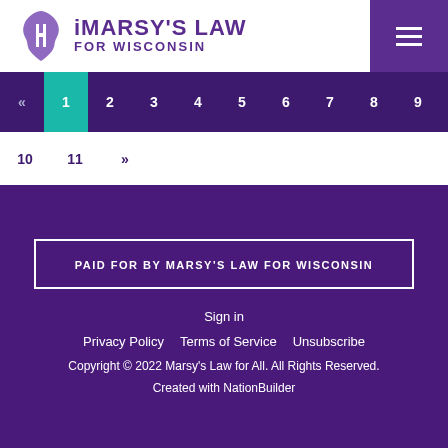[Figure (logo): Marsy's Law for Wisconsin logo with Wisconsin state outline and text]
« 1 2 3 4 5 6 7 8 9 10 11 »
PAID FOR BY MARSY'S LAW FOR WISCONSIN
Sign in
Privacy Policy   Terms of Service   Unsubscribe
Copyright © 2022 Marsy's Law for All. All Rights Reserved.
Created with NationBuilder